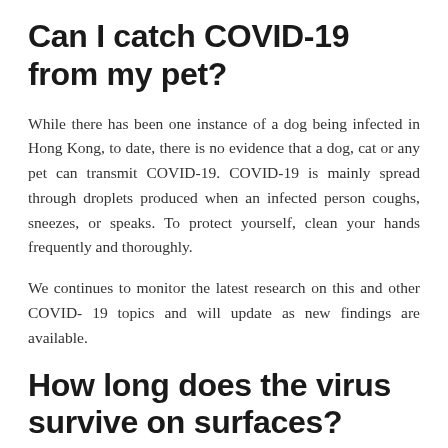Can I catch COVID-19 from my pet?
While there has been one instance of a dog being infected in Hong Kong, to date, there is no evidence that a dog, cat or any pet can transmit COVID-19. COVID-19 is mainly spread through droplets produced when an infected person coughs, sneezes, or speaks. To protect yourself, clean your hands frequently and thoroughly.
We continues to monitor the latest research on this and other COVID- 19 topics and will update as new findings are available.
How long does the virus survive on surfaces?
It is not certain how long the virus that causes COVID-19